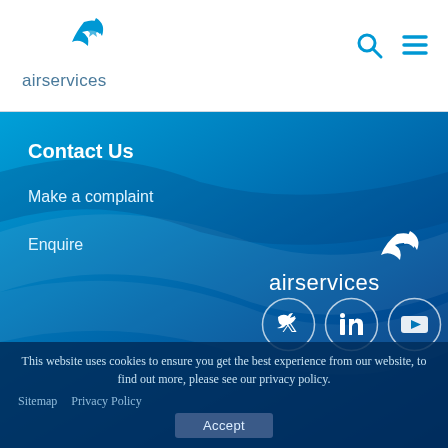[Figure (logo): Airservices Australia logo with bird/wing graphic and text 'airservices' in blue, top-left header]
[Figure (other): Search icon (magnifying glass) and hamburger menu icon in blue, top-right header]
Contact Us
Make a complaint
Enquire
[Figure (logo): Airservices Australia logo in white on blue background, bottom-right of blue area]
[Figure (other): Social media icons: Twitter, LinkedIn, YouTube in white circles on blue background]
This website uses cookies to ensure you get the best experience from our website, to find out more, please see our privacy policy.
Sitemap   Privacy Policy
Accept